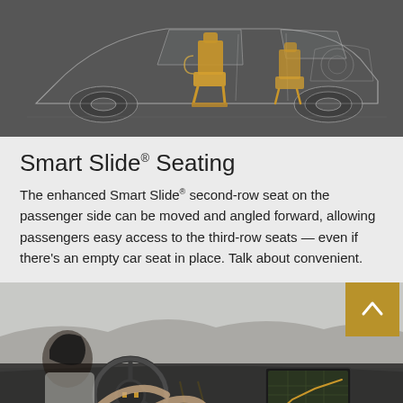[Figure (illustration): X-ray/wireframe style illustration of a Chevrolet SUV showing Smart Slide second-row seat mechanism highlighted in gold/amber color, revealing interior seating structure.]
Smart Slide® Seating
The enhanced Smart Slide® second-row seat on the passenger side can be moved and angled forward, allowing passengers easy access to the third-row seats — even if there's an empty car seat in place. Talk about convenient.
[Figure (photo): Interior photo of a Chevrolet vehicle showing driver (woman with dark hair, white top) hands on steering wheel with navigation screen visible on center console dashboard.]